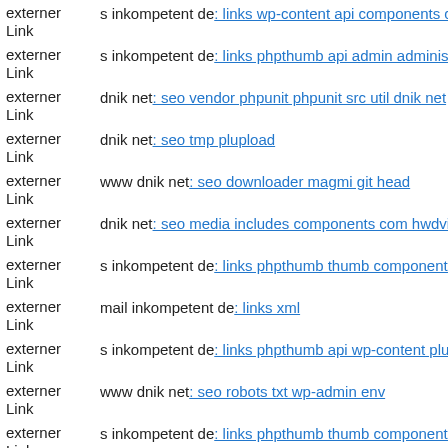externer Link  s inkompetent de: links wp-content api components com b2...
externer Link  s inkompetent de: links phpthumb api admin administrator...
externer Link  dnik net: seo vendor phpunit phpunit src util dnik net
externer Link  dnik net: seo tmp plupload
externer Link  www dnik net: seo downloader magmi git head
externer Link  dnik net: seo media includes components com hwdvideosha...
externer Link  s inkompetent de: links phpthumb thumb components comp...
externer Link  mail inkompetent de: links xml
externer Link  s inkompetent de: links phpthumb api wp-content plugins w...
externer Link  www dnik net: seo robots txt wp-admin env
externer Link  s inkompetent de: links phpthumb thumb components dnik...
externer Link  dnik net: seo media system js wp-content themes responz st...